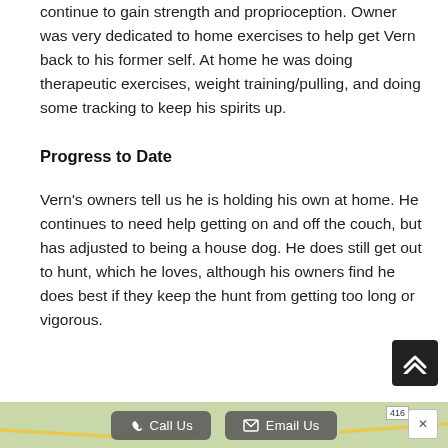continue to gain strength and proprioception. Owner was very dedicated to home exercises to help get Vern back to his former self. At home he was doing therapeutic exercises, weight training/pulling, and doing some tracking to keep his spirits up.
Progress to Date
Vern's owners tell us he is holding his own at home. He continues to need help getting on and off the couch, but has adjusted to being a house dog. He does still get out to hunt, which he loves, although his owners find he does best if they keep the hunt from getting too long or vigorous.
[Figure (screenshot): Scroll-to-top button (dark square with double chevron up arrow) and map bar at bottom with Call Us and Email Us buttons]